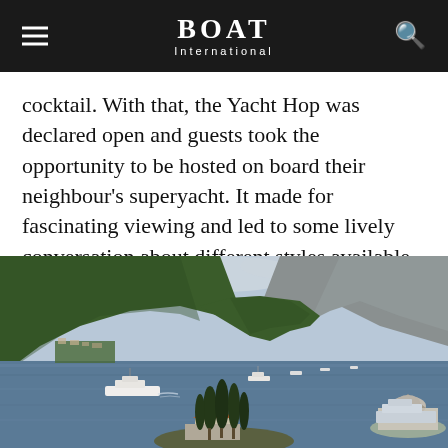BOAT International
cocktail. With that, the Yacht Hop was declared open and guests took the opportunity to be hosted on board their neighbour's superyacht. It made for fascinating viewing and led to some lively conversation about different styles available within the yacht design world. The party continued into the night and it was a fantastic way to christen the Rendezvous.
[Figure (photo): Aerial view of a bay with green mountains in the background, calm blue water, several superyachts anchored, a small island with cypress trees and a historic church building in the foreground right, and another island with a domed building to the far right — likely the Bay of Kotor, Montenegro.]